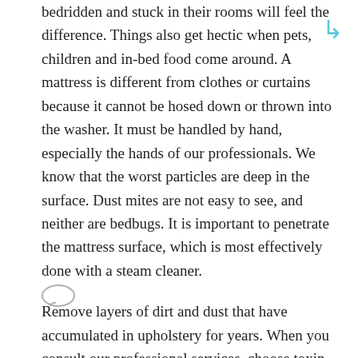bedridden and stuck in their rooms will feel the difference. Things also get hectic when pets, children and in-bed food come around. A mattress is different from clothes or curtains because it cannot be hosed down or thrown into the washer. It must be handled by hand, especially the hands of our professionals. We know that the worst particles are deep in the surface. Dust mites are not easy to see, and neither are bedbugs. It is important to penetrate the mattress surface, which is most effectively done with a steam cleaner.
Remove layers of dirt and dust that have accumulated in upholstery for years. When you consult our professional services, choose toxin-free cleaning solutions. We make all accommodations for our customers.